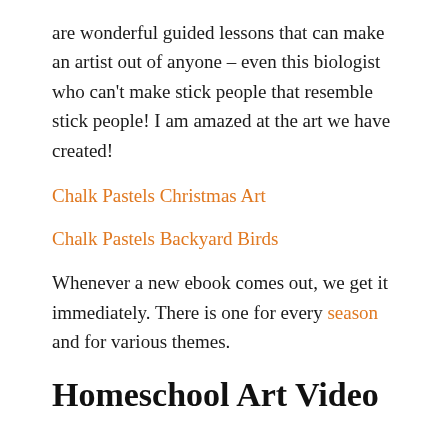are wonderful guided lessons that can make an artist out of anyone – even this biologist who can't make stick people that resemble stick people! I am amazed at the art we have created!
Chalk Pastels Christmas Art
Chalk Pastels Backyard Birds
Whenever a new ebook comes out, we get it immediately. There is one for every season and for various themes.
Homeschool Art Video